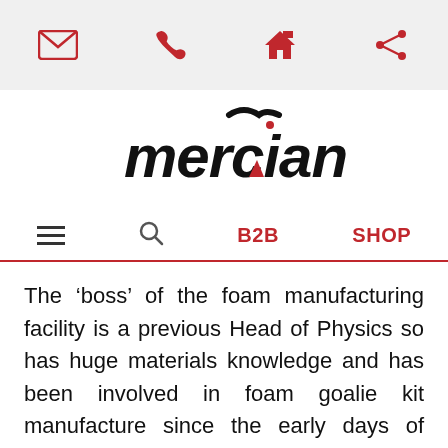[icon bar: email, phone, home, share]
[Figure (logo): Mercian brand logo in black and red italic text]
≡  🔍  B2B  SHOP
The ‘boss’ of the foam manufacturing facility is a previous Head of Physics so has huge materials knowledge and has been involved in foam goalie kit manufacture since the early days of ‘moon boot’ kickers in the 1980s so has an intimate knowledge of product development over many years,